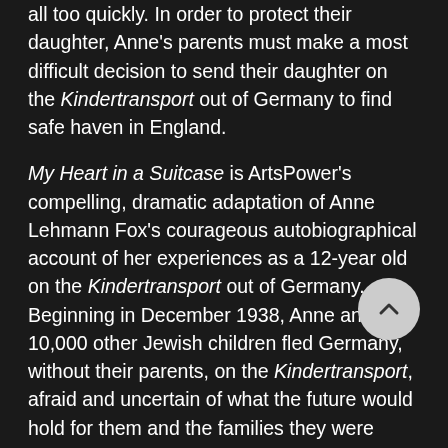all too quickly. In order to protect their daughter, Anne's parents must make a most difficult decision to send their daughter on the Kindertransport out of Germany to find safe haven in England.
My Heart in a Suitcase is ArtsPower's compelling, dramatic adaptation of Anne Lehmann Fox's courageous autobiographical account of her experiences as a 12-year old on the Kindertransport out of Germany. Beginning in December 1938, Anne and 10,000 other Jewish children fled Germany, without their parents, on the Kindertransport, afraid and uncertain of what the future would hold for them and the families they were forced to leave behind.
While the one-hour, one-act production depicts only a portion of Anne's life, from August 1938 to the moment she departed on the Kindertransport in December 1938, it